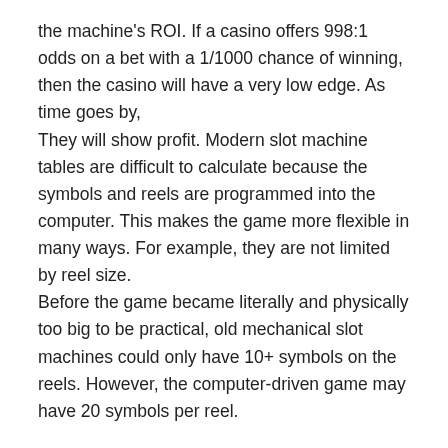the machine's ROI. If a casino offers 998:1 odds on a bet with a 1/1000 chance of winning, then the casino will have a very low edge. As time goes by, They will show profit. Modern slot machine tables are difficult to calculate because the symbols and reels are programmed into the computer. This makes the game more flexible in many ways. For example, they are not limited by reel size. Before the game became literally and physically too big to be practical, old mechanical slot machines could only have 10+ symbols on the reels. However, the computer-driven game may have 20 symbols per reel.
Another advantage for manufacturers is that they can adjust the odds of certain symbols appearing. Some symbols will appear once every 10 spins; others may only appear once every 20 or 30 spins. This enables manufacturers and casinos to offer bigger jackpots,